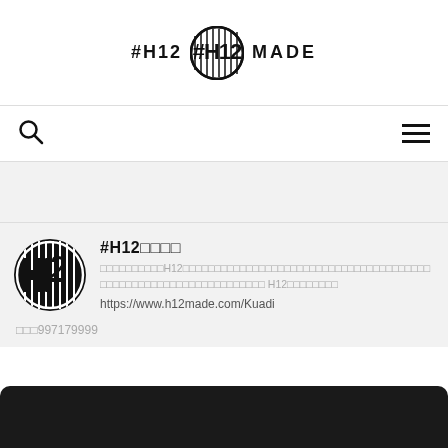[Figure (logo): #H12 HH12 MADE logo with circular emblem in header]
[Figure (infographic): Navigation bar with search icon (magnifying glass) on left and hamburger menu icon on right]
[Figure (logo): Circular black logo with #H12 monogram style lettering]
#H12□□□□
□□□□□□□□□□H12□□□□□□□□□□□□□□□□□□□□□□□□□□□□□□□□□□□□□□□□□□□□□□□□□□□□□□□□□□□□□□□□□ H12□□□□□□□□
https://www.h12made.com/Kuadi
□□□997179999
[Figure (photo): Dark/black bottom image strip]